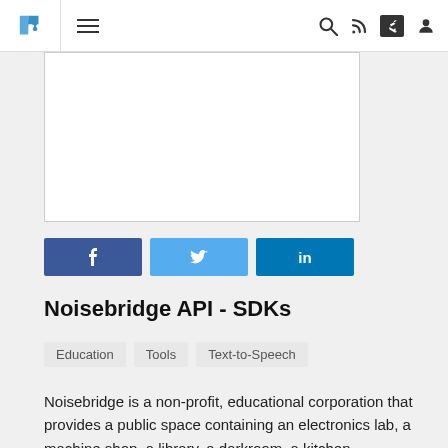Noisebridge API - SDKs — website navigation bar with puzzle logo, hamburger menu, search, RSS, share, and user icons
[Figure (other): White rectangular image/advertisement placeholder box]
[Figure (infographic): Social sharing buttons: Facebook (f), Twitter (bird), LinkedIn (in)]
Noisebridge API - SDKs
Education
Tools
Text-to-Speech
Noisebridge is a non-profit, educational corporation that provides a public space containing an electronics lab, a machine shop, a library, a darkroom, a kitchen,